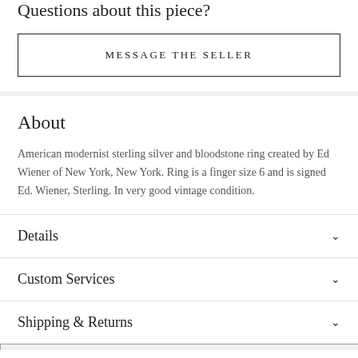Questions about this piece?
MESSAGE THE SELLER
About
American modernist sterling silver and bloodstone ring created by Ed Wiener of New York, New York. Ring is a finger size 6 and is signed Ed. Wiener, Sterling. In very good vintage condition.
Details
Custom Services
Shipping & Returns
About the Seller